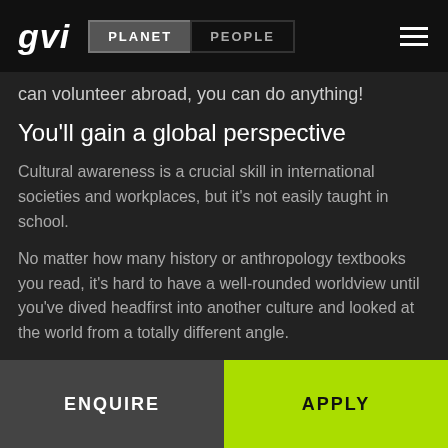gvi | PLANET | PEOPLE
can volunteer abroad, you can do anything!
You'll gain a global perspective
Cultural awareness is a crucial skill in international societies and workplaces, but it's not easily taught in school.
No matter how many history or anthropology textbooks you read, it's hard to have a well-rounded worldview until you've dived headfirst into another culture and looked at the world from a totally different angle.
ENQUIRE | APPLY